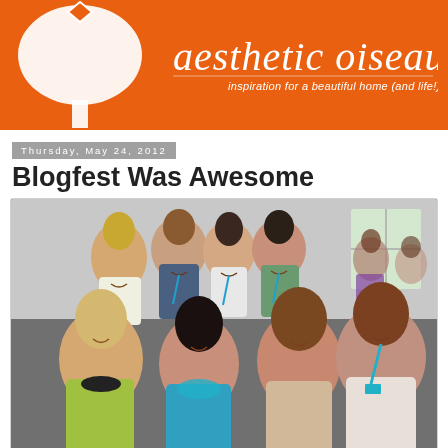[Figure (logo): Aesthetic Oiseau blog header banner with orange background, white bird/tree silhouette on left, cursive blog name 'aesthetic oiseau' and tagline 'inspiration for a beautiful home (and life!)']
Thursday, May 24, 2012
Blogfest Was Awesome
[Figure (photo): Group photo of approximately 7-8 women at what appears to be a blogging conference (Blogfest), smiling at camera, some wearing blue lanyards/badges, indoor venue with windows visible in background]